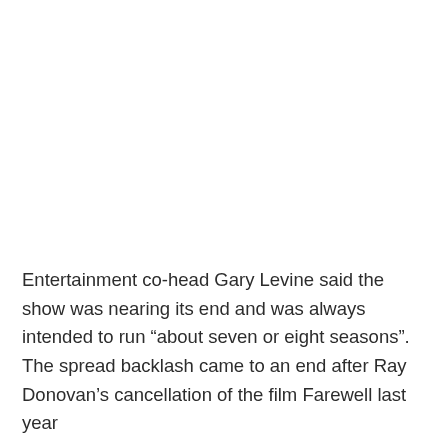Entertainment co-head Gary Levine said the show was nearing its end and was always intended to run “about seven or eight seasons”. The spread backlash came to an end after Ray Donovan’s cancellation of the film Farewell last year